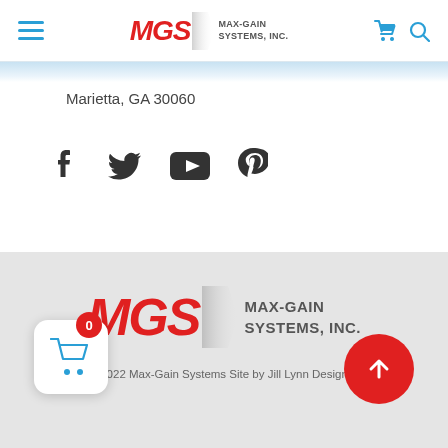[Figure (logo): MGS Max-Gain Systems, Inc. logo in header with hamburger menu and cart/search icons]
Marietta, GA 30060
[Figure (infographic): Social media icons row: Facebook, Twitter, YouTube, Pinterest]
[Figure (logo): MGS Max-Gain Systems, Inc. large footer logo on gray background]
2022 Max-Gain Systems Site by Jill Lynn Design